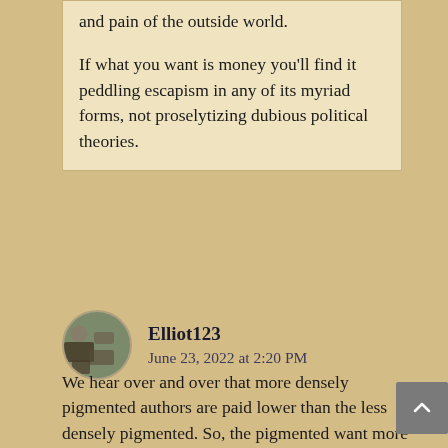and pain of the outside world.

If what you want is money you'll find it peddling escapism in any of its myriad forms, not proselytizing dubious political theories.
Elliot123
June 23, 2022 at 2:20 PM
We hear over and over that more densely pigmented authors are paid lower than the less densely pigmented. So, the pigmented want more money. But the problem is their pay is tied to what consumers buy, and